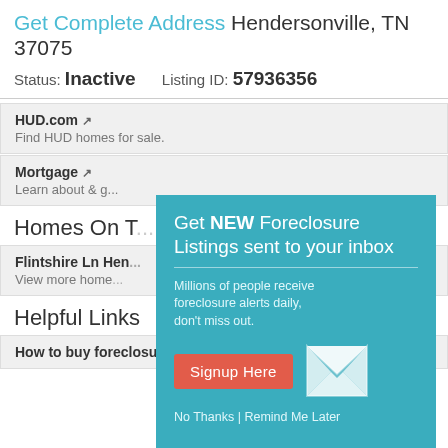Get Complete Address Hendersonville, TN 37075
Status: Inactive   Listing ID: 57936356
HUD.com — Find HUD homes for sale.
Mortgage — Learn about & get...
Homes On T...
Flintshire Ln Hen... View more home...
Helpful Links
How to buy foreclosure homes in TN
[Figure (screenshot): Modal popup with teal background: 'Get NEW Foreclosure Listings sent to your inbox'. Includes body text 'Millions of people receive foreclosure alerts daily, don’t miss out.', a red 'Signup Here' button, a white envelope icon, and links 'No Thanks | Remind Me Later'.]